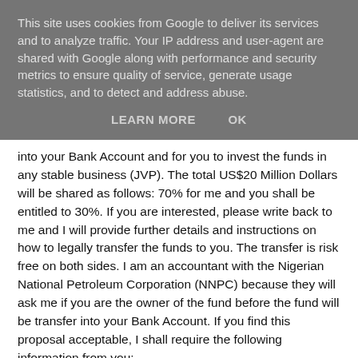This site uses cookies from Google to deliver its services and to analyze traffic. Your IP address and user-agent are shared with Google along with performance and security metrics to ensure quality of service, generate usage statistics, and to detect and address abuse.
LEARN MORE    OK
into your Bank Account and for you to invest the funds in any stable business (JVP). The total US$20 Million Dollars will be shared as follows: 70% for me and you shall be entitled to 30%. If you are interested, please write back to me and I will provide further details and instructions on how to legally transfer the funds to you. The transfer is risk free on both sides. I am an accountant with the Nigerian National Petroleum Corporation (NNPC) because they will ask me if you are the owner of the fund before the fund will be transfer into your Bank Account. If you find this proposal acceptable, I shall require the following information from you:
Your Full Name
Your Home Address